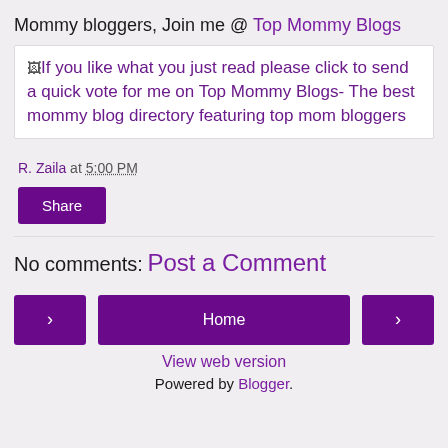Mommy bloggers, Join me @ Top Mommy Blogs
[Figure (other): Broken image link with alt text: If you like what you just read please click to send a quick vote for me on Top Mommy Blogs- The best mommy blog directory featuring top mom bloggers]
R. Zaila at 5:00 PM
Share
No comments:
Post a Comment
< Home > View web version Powered by Blogger.